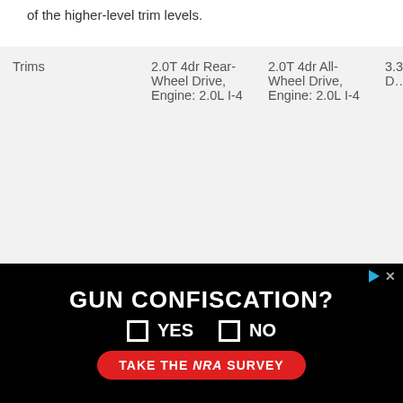of the higher-level trim levels.
| Trims | 2.0T 4dr Rear-Wheel Drive, Engine: 2.0L I-4 | 2.0T 4dr All-Wheel Drive, Engine: 2.0L I-4 | 3.3T 4dr Wheel Drive, Engine: 6 |
| --- | --- | --- | --- |
| Luggage capacity | 10.5 cu.ft. | 10.5 cu.ft. | 10.5 cu. |
| Maximum cargo | 10.5 cu.ft. | 10.5 cu.ft. | 10.5 cu. |
[Figure (other): Advertisement banner: GUN CONFISCATION? YES / NO survey with NRA branding on black background]